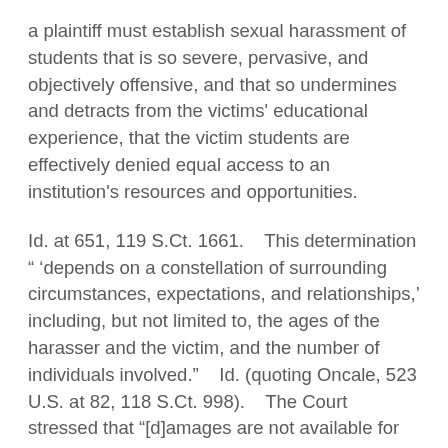a plaintiff must establish sexual harassment of students that is so severe, pervasive, and objectively offensive, and that so undermines and detracts from the victims' educational experience, that the victim students are effectively denied equal access to an institution's resources and opportunities.
Id. at 651, 119 S.Ct. 1661.    This determination " 'depends on a constellation of surrounding circumstances, expectations, and relationships,' including, but not limited to, the ages of the harasser and the victim, and the number of individuals involved."    Id. (quoting Oncale, 523 U.S. at 82, 118 S.Ct. 998).    The Court stressed that "[d]amages are not available for simple acts of teasing and name-calling among school children, even where these comments target differences in gender."    Id. at 652, 119 S.Ct. 1661.    Rather, private damages actions against the school are limited to cases in which the school “acts with deliberate indifference